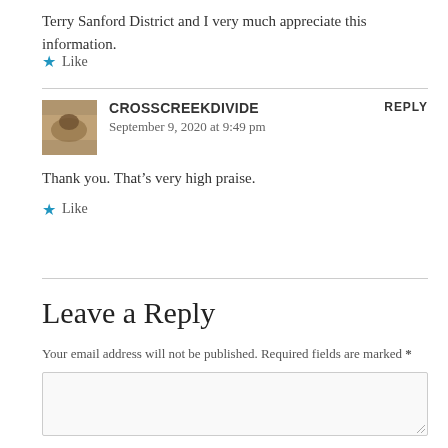Terry Sanford District and I very much appreciate this information.
★ Like
CROSSCREEKDIVIDE says:
September 9, 2020 at 9:49 pm
REPLY
Thank you. That's very high praise.
★ Like
Leave a Reply
Your email address will not be published. Required fields are marked *